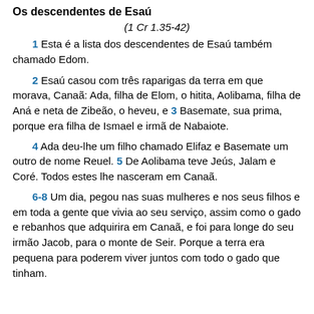Os descendentes de Esaú
(1 Cr 1.35-42)
1 Esta é a lista dos descendentes de Esaú também chamado Edom.
2 Esaú casou com três raparigas da terra em que morava, Canaã: Ada, filha de Elom, o hitita, Aolibama, filha de Aná e neta de Zibeão, o heveu, e 3 Basemate, sua prima, porque era filha de Ismael e irmã de Nabaiote.
4 Ada deu-lhe um filho chamado Elifaz e Basemate um outro de nome Reuel. 5 De Aolibama teve Jeús, Jalam e Coré. Todos estes lhe nasceram em Canaã.
6-8 Um dia, pegou nas suas mulheres e nos seus filhos e em toda a gente que vivia ao seu serviço, assim como o gado e rebanhos que adquirira em Canaã, e foi para longe do seu irmão Jacob, para o monte de Seir. Porque a terra era pequena para poderem viver juntos com todo o gado que tinham.